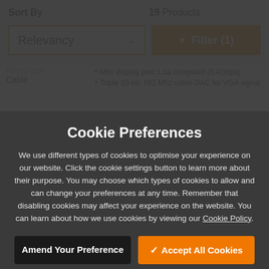Sort By
19 Products
Relevancy
Filter (1)
Port to VGA Cable
Mini display port 1.1a compliant (5.4Gbps)
Triple 10-bit, 162 Mhz video DAC for VGA signal
Cookie Preferences
We use different types of cookies to optimise your experience on our website. Click the cookie settings button to learn more about their purpose. You may choose which types of cookies to allow and can change your preferences at any time. Remember that disabling cookies may affect your experience on the website. You can learn about how we use cookies by viewing our Cookie Policy.
Amend Your Preference
Accept All Cookies